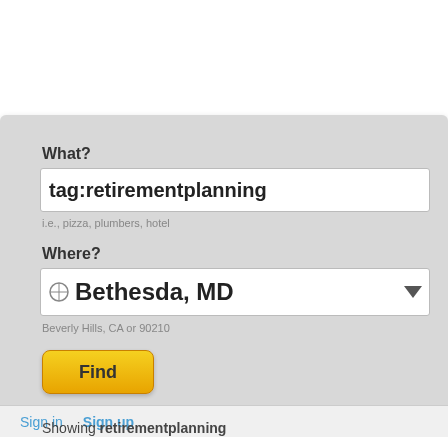What?
tag:retirementplanning
i.e., pizza, plumbers, hotel
Where?
Bethesda, MD
Beverly Hills, CA or 90210
Find
Sign in
Sign up
Showing retirementplanning